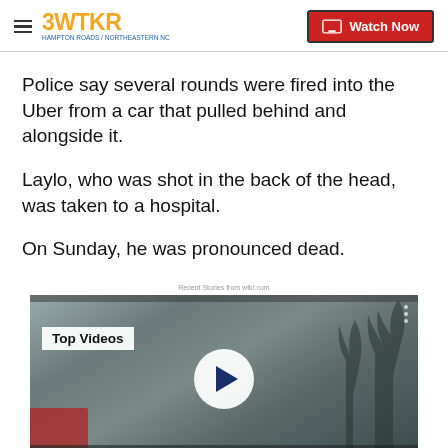3WTKR | Watch Now
Police say several rounds were fired into the Uber from a car that pulled behind and alongside it.
Laylo, who was shot in the back of the head, was taken to a hospital.
On Sunday, he was pronounced dead.
Recent Stories from wtkr.com
[Figure (screenshot): Video player thumbnail showing foggy outdoor scene with red emergency vehicle visible at bottom left, trees silhouetted on right. Overlay shows 'Top Videos' badge and a play button in the center.]